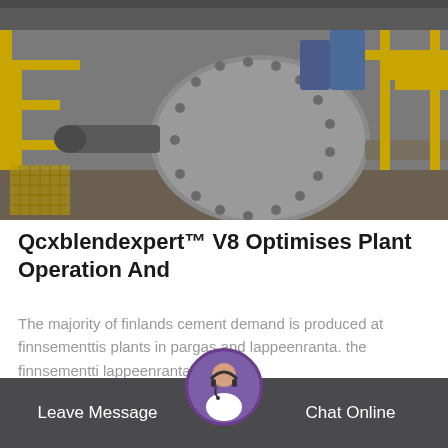[Figure (photo): Industrial plant interior showing large rotating ball mill machinery with yellow metal framework, stairs, and heavy industrial equipment in a manufacturing facility]
Qcxblendexpert™ V8 Optimises Plant Operation And
The majority of finlands cement demand is produced at finnsementtis plants in pargas and lappeenranta. the finnsementti lappeenranta plan…
Read More →
Leave Message   Chat Online